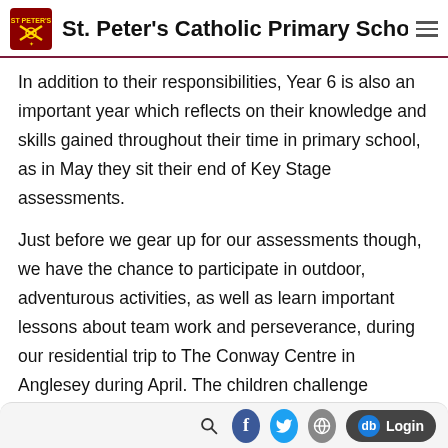St. Peter's Catholic Primary School
In addition to their responsibilities, Year 6 is also an important year which reflects on their knowledge and skills gained throughout their time in primary school, as in May they sit their end of Key Stage assessments.
Just before we gear up for our assessments though, we have the chance to participate in outdoor, adventurous activities, as well as learn important lessons about team work and perseverance, during our residential trip to The Conway Centre in Anglesey during April. The children challenge themselves to work as a team from building rafts, scaling walls